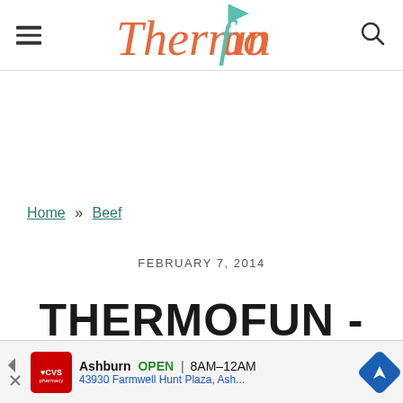ThermoFun
Home » Beef
FEBRUARY 7, 2014
THERMOFUN - MEMBER
[Figure (infographic): CVS Pharmacy ad banner: Ashburn OPEN 8AM-12AM, 43930 Farmwell Hunt Plaza, Ash...]